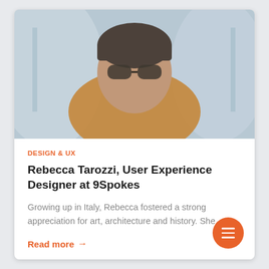[Figure (photo): Blurred portrait photo of a person wearing sunglasses and an orange/yellow top, taken in an indoor setting with blurred background.]
DESIGN & UX
Rebecca Tarozzi, User Experience Designer at 9Spokes
Growing up in Italy, Rebecca fostered a strong appreciation for art, architecture and history. She...
Read more →